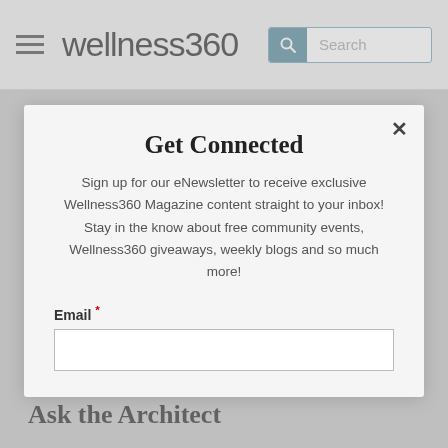wellness360 [Search]
RELATED ARTICLES:
3 Favorite Restaurant Recipes to Make at Home
We Tried It!
How Air Purifi... Air
Mental Toughness in 75 Days
[Figure (screenshot): Modal popup with title 'Get Connected', body text about signing up for eNewsletter, Email field with red asterisk, and a close (×) button]
Ask the Architect